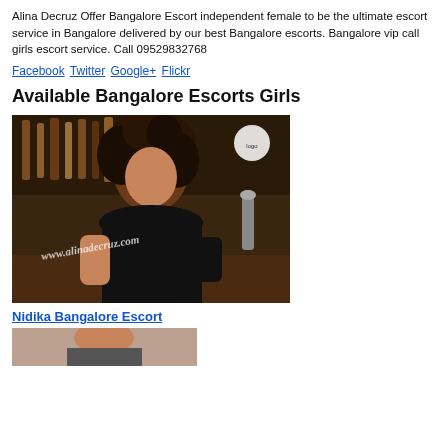Alina Decruz Offer Bangalore Escort independent female to be the ultimate escort service in Bangalore delivered by our best Bangalore escorts. Bangalore vip call girls escort service. Call 09529832768
Facebook Twitter Google+ Flickr
Available Bangalore Escorts Girls
[Figure (photo): Photo of a woman with curly hair wearing a black lace top, sitting at a bar with bottles in the background. Watermark text reads: www.alinadecruz.com]
Nidika Bangalore Escort
[Figure (photo): Partially visible photo at the bottom of the page, cropped.]